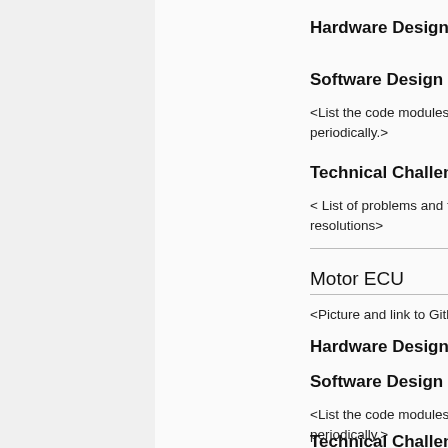Hardware Design
Software Design
<List the code modules that are being called periodically.>
Technical Challenges
< List of problems and their detailed resolutions>
Motor ECU
<Picture and link to Gitlab>
Hardware Design
Software Design
<List the code modules that are being called periodically.>
Technical Challenges